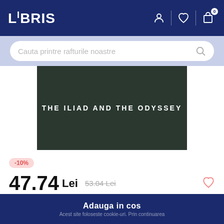LIBRIS
Cauta printre rafturile noastre
[Figure (photo): Book cover with dark green/black background showing title text: THE ILIAD AND THE ODYSSEY]
-10%
47.74 Lei  53.04 Lei
Sau 4774 de puncte (i)
Livrare in 2-4 saptamani
Adauga in cos
Acest site foloseste cookie-uri. Prin continuarea